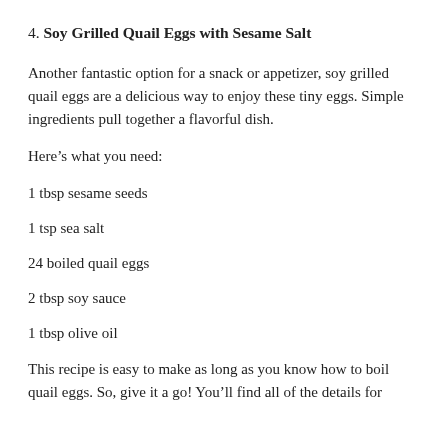4. Soy Grilled Quail Eggs with Sesame Salt
Another fantastic option for a snack or appetizer, soy grilled quail eggs are a delicious way to enjoy these tiny eggs. Simple ingredients pull together a flavorful dish.
Here’s what you need:
1 tbsp sesame seeds
1 tsp sea salt
24 boiled quail eggs
2 tbsp soy sauce
1 tbsp olive oil
This recipe is easy to make as long as you know how to boil quail eggs. So, give it a go! You’ll find all of the details for